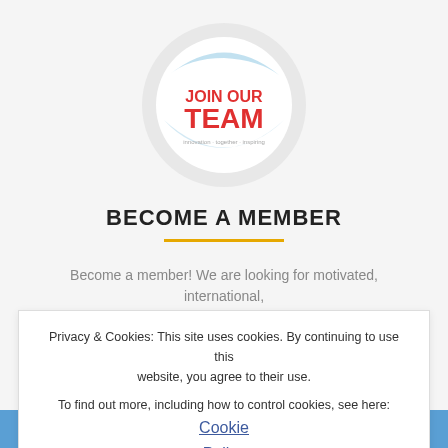[Figure (logo): Circular logo with light blue swoosh/arc design and white center containing 'JOIN OUR TEAM' text in red, with a small tagline below in gray]
BECOME A MEMBER
Become a member! We are looking for motivated, international, cosmopolitan people who want to be part of Gauss Friends.
Privacy & Cookies: This site uses cookies. By continuing to use this website, you agree to their use.
To find out more, including how to control cookies, see here: Cookie Policy